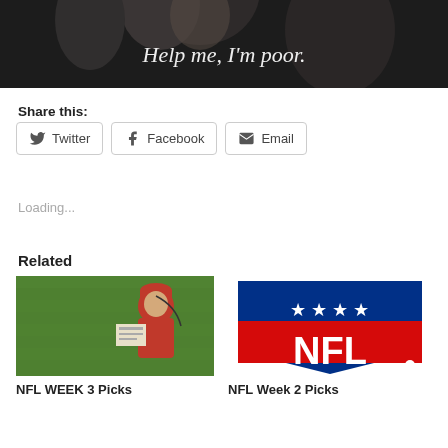[Figure (photo): Dark movie still with text overlay 'Help me, I'm poor.' showing people in background]
Share this:
Twitter  Facebook  Email
Loading...
Related
[Figure (photo): NFL coach in red jacket and cap holding a clipboard on a football field]
[Figure (photo): NFL logo shield with blue top panel with stars and red NFL text]
NFL WEEK 3 Picks
NFL Week 2 Picks